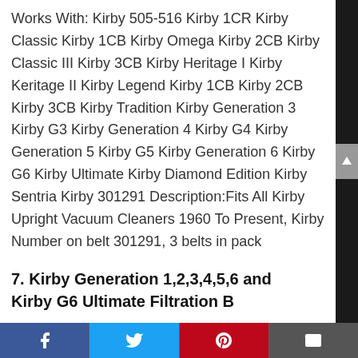Works With: Kirby 505-516 Kirby 1CR Kirby Classic Kirby 1CB Kirby Omega Kirby 2CB Kirby Classic III Kirby 3CB Kirby Heritage I Kirby Keritage II Kirby Legend Kirby 1CB Kirby 2CB Kirby 3CB Kirby Tradition Kirby Generation 3 Kirby G3 Kirby Generation 4 Kirby G4 Kirby Generation 5 Kirby G5 Kirby Generation 6 Kirby G6 Kirby Ultimate Kirby Diamond Edition Kirby Sentria Kirby 301291 Description:Fits All Kirby Upright Vacuum Cleaners 1960 To Present, Kirby Number on belt 301291, 3 belts in pack
7. Kirby Generation 1,2,3,4,5,6 and Kirby G6 Ultimate Filtration B...